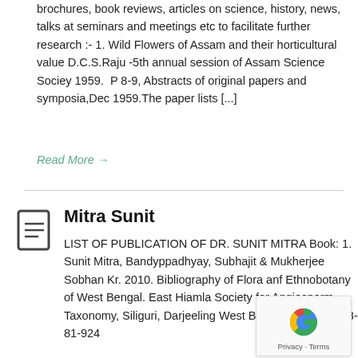brochures, book reviews, articles on science, history, news, talks at seminars and meetings etc to facilitate further research :- 1. Wild Flowers of Assam and their horticultural value D.C.S.Raju -5th annual session of Assam Science Sociey 1959.  P 8-9, Abstracts of original papers and symposia,Dec 1959.The paper lists [...]
Read More →
Mitra Sunit
LIST OF PUBLICATION OF DR. SUNIT MITRA Book: 1. Sunit Mitra, Bandyppadhyay, Subhajit & Mukherjee Sobhan Kr. 2010. Bibliography of Flora anf Ethnobotany of West Bengal. East Hiamla Society for Angiosperm Taxonomy, Siliguri, Darjeeling West Bengal. (ISBN – 978-81-924...